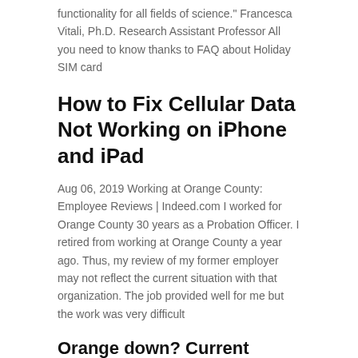functionality for all fields of science." Francesca Vitali, Ph.D. Research Assistant Professor All you need to know thanks to FAQ about Holiday SIM card
How to Fix Cellular Data Not Working on iPhone and iPad
Aug 06, 2019 Working at Orange County: Employee Reviews | Indeed.com I worked for Orange County 30 years as a Probation Officer. I retired from working at Orange County a year ago. Thus, my review of my former employer may not reflect the current situation with that organization. The job provided well for me but the work was very difficult
Orange down? Current problems and network issues
Corporate Website of Orange - orange.com Staying on the right